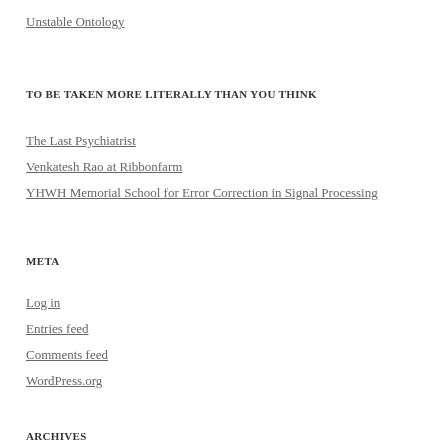Unstable Ontology
TO BE TAKEN MORE LITERALLY THAN YOU THINK
The Last Psychiatrist
Venkatesh Rao at Ribbonfarm
YHWH Memorial School for Error Correction in Signal Processing
META
Log in
Entries feed
Comments feed
WordPress.org
ARCHIVES